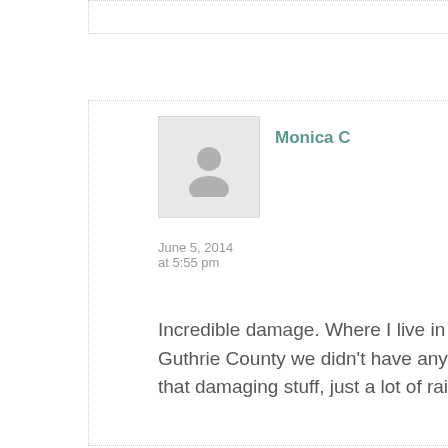[Figure (illustration): Generic user avatar placeholder image showing a silhouette of a person, gray background]
Monica C
June 5, 2014 at 5:55 pm
Incredible damage. Where I live in Guthrie County we didn't have any of that damaging stuff, just a lot of rain.